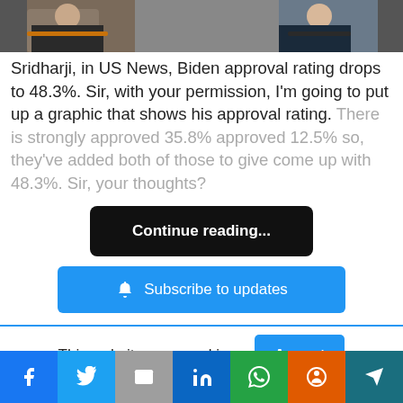[Figure (photo): Photo of two men in suits at top of page, partially cropped]
Sridharji, in US News, Biden approval rating drops to 48.3%. Sir, with your permission, I'm going to put up a graphic that shows his approval rating. There is strongly approved 35.8% approved 12.5% so, they've added both of those to give come up with 48.3%. Sir, your thoughts?
Continue reading...
Subscribe to updates
This website uses cookies.
Accept